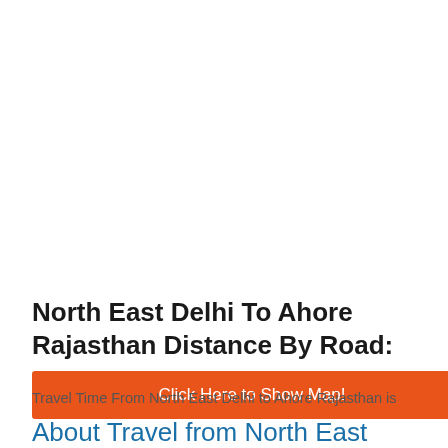North East Delhi To Ahore Rajasthan Distance By Road:
[Figure (other): Orange button: Click Here to Show Map!]
Travel Time From North East Delhi to Ahore Rajasthan is
About Travel from North East Delhi to Ahore Rajasthan